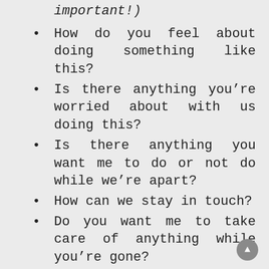important!)
How do you feel about doing something like this?
Is there anything you're worried about with us doing this?
Is there anything you want me to do or not do while we're apart?
How can we stay in touch?
Do you want me to take care of anything while you're gone?
It's not an easy undertaking, but at the end of it your relationship will feel stronger than ever.